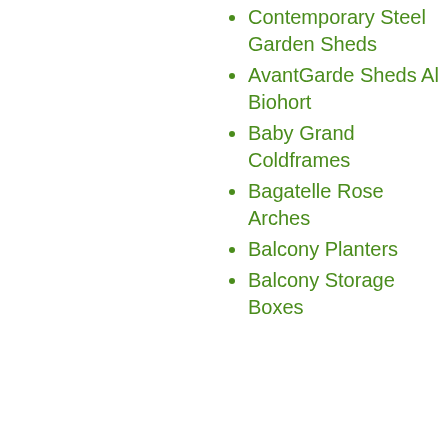Contemporary Steel Garden Sheds
AvantGarde Sheds Al Biohort
Baby Grand Coldframes
Bagatelle Rose Arches
Balcony Planters
Balcony Storage Boxes
Balcony Storage Units
Our site uses cookies, including for advertising and personalisation. For more information, see our cookie policy.
Accept cookies and close
Reject cookies
Manage settings